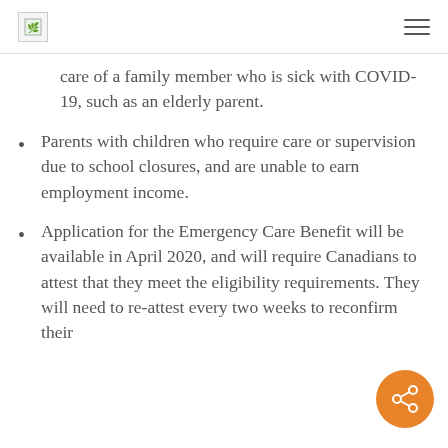[Logo] [Menu]
care of a family member who is sick with COVID-19, such as an elderly parent.
Parents with children who require care or supervision due to school closures, and are unable to earn employment income.
Application for the Emergency Care Benefit will be available in April 2020, and will require Canadians to attest that they meet the eligibility requirements. They will need to re-attest every two weeks to reconfirm their